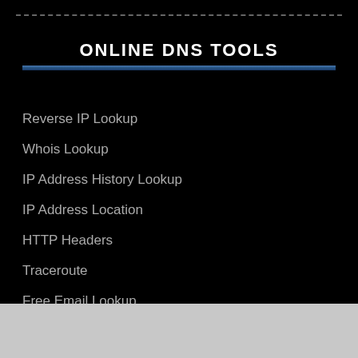ONLINE DNS TOOLS
Reverse IP Lookup
Whois Lookup
IP Address History Lookup
IP Address Location
HTTP Headers
Traceroute
Free Email Lookup
Reverse DNS Lookup
Reverse Whois Lookup
Reverse MX Lookup